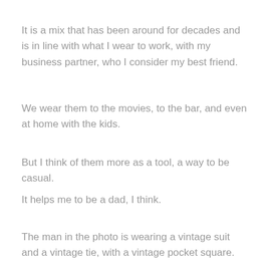It is a mix that has been around for decades and is in line with what I wear to work, with my business partner, who I consider my best friend.
We wear them to the movies, to the bar, and even at home with the kids.
But I think of them more as a tool, a way to be casual.
It helps me to be a dad, I think.
The man in the photo is wearing a vintage suit and a vintage tie, with a vintage pocket square.
He is also wearing an old-school shirt, a classic blazer, and a classic button-up.
The jacket and tie are vintage, too, but they have been